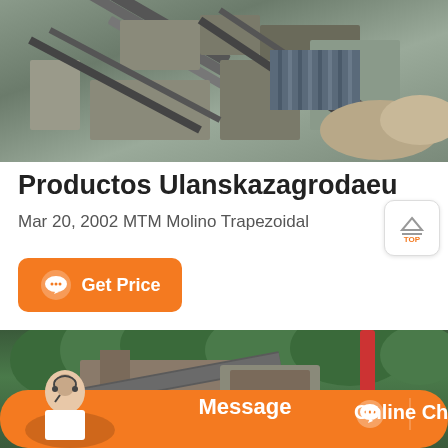[Figure (photo): Aerial view of an industrial mining or quarrying facility with conveyor belts, machinery, and structures seen from above.]
Productos Ulanskazagrodaeu
Mar 20, 2002 MTM Molino Trapezoidal
[Figure (other): TOP button - navigation icon with triangle/arrow pointing up and text TOP]
[Figure (other): Get Price button - orange button with chat icon and text Get Price]
[Figure (photo): Photo of industrial crushing/mining equipment with conveyor belts surrounded by trees and forest in the background, with an orange banner overlay showing Message and Online Chat options.]